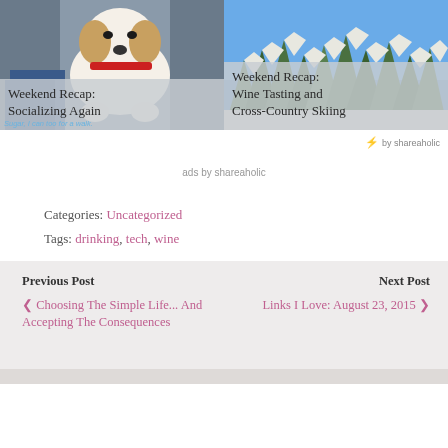[Figure (photo): Photo of a white and tan dog sitting at a doorway, with a semi-transparent overlay card showing the title 'Weekend Recap: Socializing Again']
[Figure (photo): Photo of snow-covered trees and blue sky, with a semi-transparent overlay card showing the title 'Weekend Recap: Wine Tasting and Cross-Country Skiing']
by shareaholic
ads by shareaholic
Categories: Uncategorized
Tags: drinking, tech, wine
Previous Post
❮ Choosing The Simple Life... And Accepting The Consequences
Next Post
Links I Love: August 23, 2015 ❯